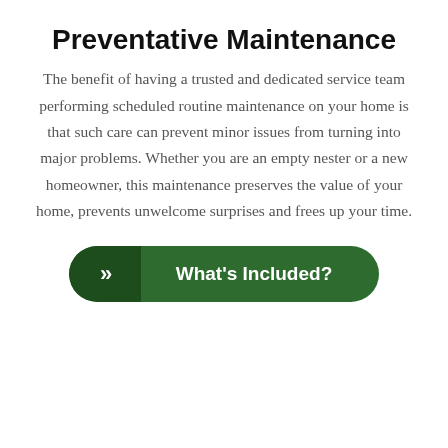[Figure (illustration): Green outlined icon of crossed screwdriver and wrench tools]
Preventative Maintenance
The benefit of having a trusted and dedicated service team performing scheduled routine maintenance on your home is that such care can prevent minor issues from turning into major problems. Whether you are an empty nester or a new homeowner, this maintenance preserves the value of your home, prevents unwelcome surprises and frees up your time.
>> What's Included?